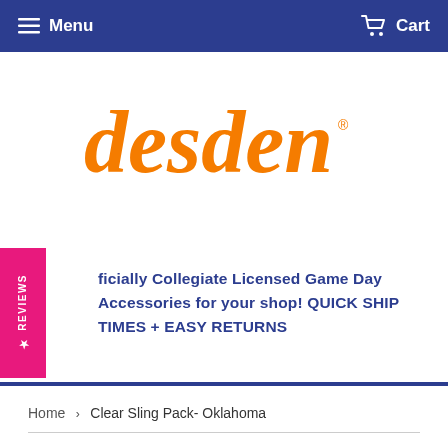Menu  Cart
[Figure (logo): Desden brand logo in orange cursive script with registered trademark symbol]
Officially Collegiate Licensed Game Day Accessories for your shop! QUICK SHIP TIMES + EASY RETURNS
Home > Clear Sling Pack- Oklahoma